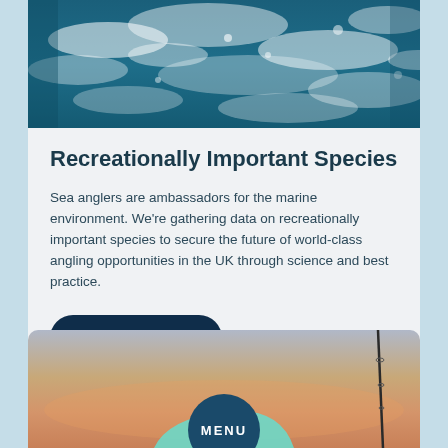[Figure (photo): Aerial view of rough ocean waves with blue-green water and white foam]
Recreationally Important Species
Sea anglers are ambassadors for the marine environment. We're gathering data on recreationally important species to secure the future of world-class angling opportunities in the UK through science and best practice.
[Figure (other): Button labeled Find Out More with dark navy rounded rectangle style]
[Figure (photo): Fishing rod silhouetted against a sunset sky with a teal and navy menu button overlay at the bottom center]